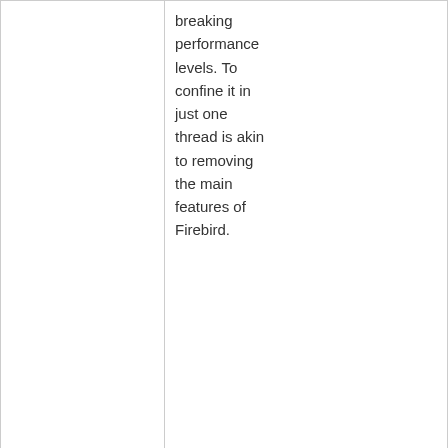breaking performance levels. To confine it in just one thread is akin to removing the main features of Firebird.
Offline
miab3
2014-11-26 #8:2
Member
From: Poland
Registered: 2014-10-01
Posts: 185
@alpinistbg

Firebird Embedded "server" supports only one localhost connection(to specified